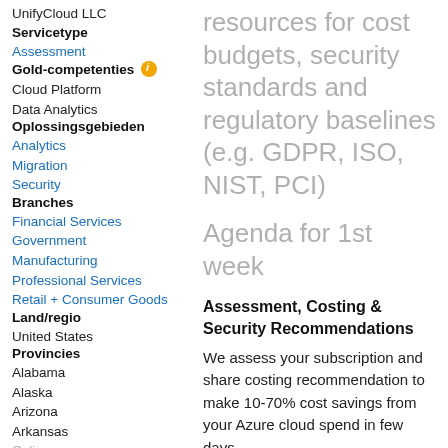UnifyCloud LLC
Servicetype
Assessment
Gold-competenties
Cloud Platform
Data Analytics
Oplossingsgebieden
Analytics
Migration
Security
Branches
Financial Services
Government
Manufacturing
Professional Services
Retail + Consumer Goods
Land/regio
United States
Provincies
Alabama
Alaska
Arizona
Arkansas
California
resources for cost budgets, security standards and regulatory baselines (e.g. GDPR, ISO, NIST, PCI)
Agenda for 1st week
Assessment, Costing & Security Recommendations
We assess your subscription and share costing recommendation to make 10-70% cost savings from your Azure cloud spend in few days,